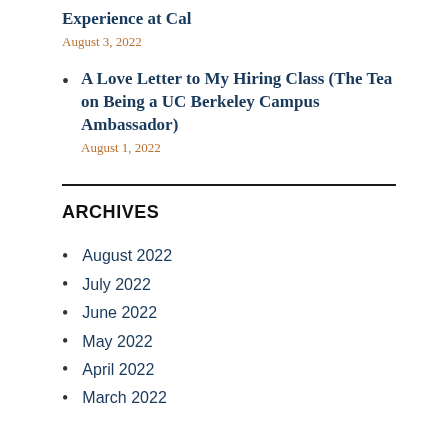Experience at Cal
August 3, 2022
A Love Letter to My Hiring Class (The Tea on Being a UC Berkeley Campus Ambassador)
August 1, 2022
ARCHIVES
August 2022
July 2022
June 2022
May 2022
April 2022
March 2022